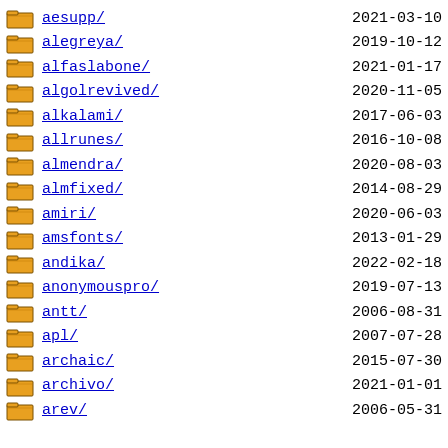aesupp/  2021-03-10 17:11  -
alegreya/  2019-10-12 23:34  -
alfaslabone/  2021-01-17 06:22  -
algolrevived/  2020-11-05 14:23  -
alkalami/  2017-06-03 16:12  -
allrunes/  2016-10-08 02:59  -
almendra/  2020-08-03 14:45  -
almfixed/  2014-08-29 13:30  -
amiri/  2020-06-03 05:09  -
amsfonts/  2013-01-29 00:48  -
andika/  2022-02-18 18:44  -
anonymouspro/  2019-07-13 06:06  -
antt/  2006-08-31 07:09  -
apl/  2007-07-28 18:13  -
archaic/  2015-07-30 05:08  -
archivo/  2021-01-01 23:20  -
arev/  2006-05-31 21:43  -